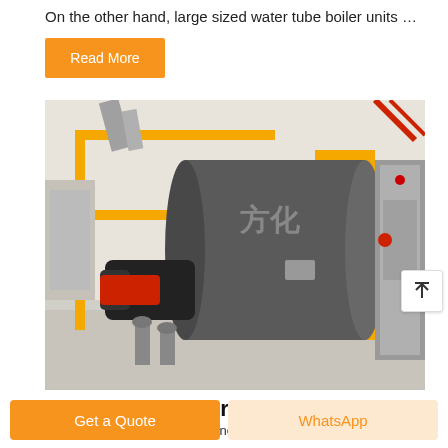On the other hand, large sized water tube boiler units …
Read More
[Figure (photo): Industrial water tube boiler unit with yellow safety railings, a large cylindrical gray boiler drum with Chinese characters, red burner assembly, piping, and a gray electrical control panel in a factory setting.]
Water Tube Boilers - Energy...
Water tube boilers can generate saturated or
Get a Quote
WhatsApp